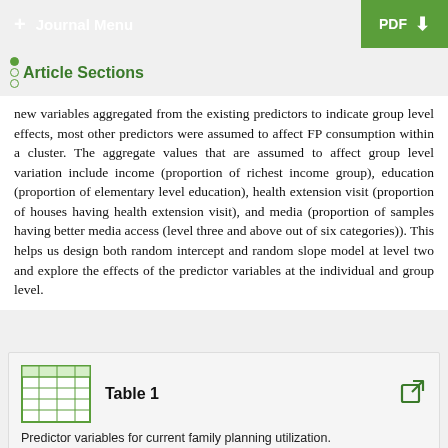+ Journal Menu | PDF
Article Sections
new variables aggregated from the existing predictors to indicate group level effects, most other predictors were assumed to affect FP consumption within a cluster. The aggregate values that are assumed to affect group level variation include income (proportion of richest income group), education (proportion of elementary level education), health extension visit (proportion of houses having health extension visit), and media (proportion of samples having better media access (level three and above out of six categories)). This helps us design both random intercept and random slope model at level two and explore the effects of the predictor variables at the individual and group level.
Table 1
Predictor variables for current family planning utilization.